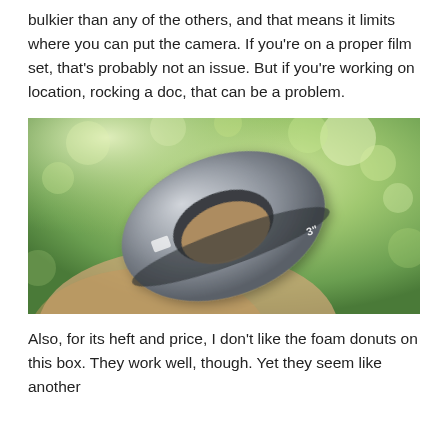bulkier than any of the others, and that means it limits where you can put the camera. If you're on a proper film set, that's probably not an issue. But if you're working on location, rocking a doc, that can be a problem.
[Figure (photo): A hand holding a gray fabric-covered oval/donut-shaped foam ring with a hole in the center, photographed outdoors against a blurred green leafy background.]
Also, for its heft and price, I don't like the foam donuts on this box. They work well, though. Yet they seem like another